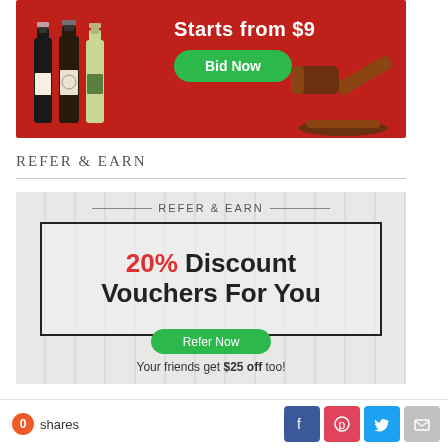[Figure (illustration): Wine auction banner with red background, wine bottles on left, gavel on right, text 'Starts from $9' and green 'Bid Now' button]
REFER & EARN
[Figure (illustration): Refer & Earn promotional card on wood-grain background showing '20% Discount Vouchers For You', 'Your friends get $25 off too!' and green 'Refer Now' button]
0 shares